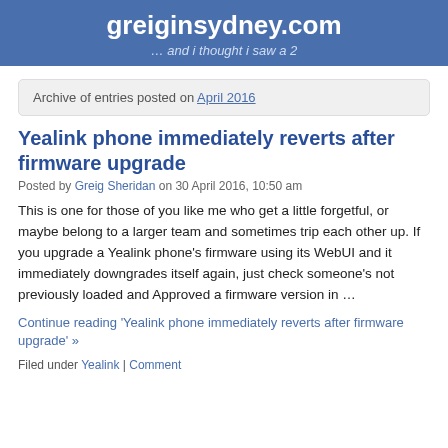greiginsydney.com
… and i thought i saw a 2
Archive of entries posted on April 2016
Yealink phone immediately reverts after firmware upgrade
Posted by Greig Sheridan on 30 April 2016, 10:50 am
This is one for those of you like me who get a little forgetful, or maybe belong to a larger team and sometimes trip each other up. If you upgrade a Yealink phone's firmware using its WebUI and it immediately downgrades itself again, just check someone's not previously loaded and Approved a firmware version in …
Continue reading 'Yealink phone immediately reverts after firmware upgrade' »
Filed under Yealink | Comment